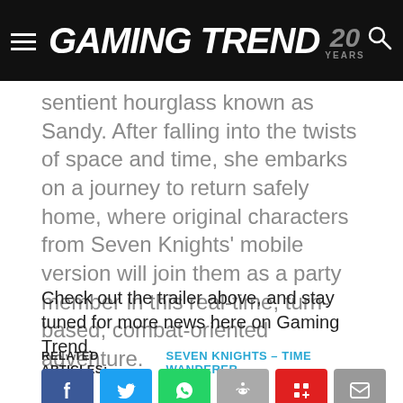GAMING TREND 20 YEARS
sentient hourglass known as Sandy. After falling into the twists of space and time, she embarks on a journey to return safely home, where original characters from Seven Knights' mobile version will join them as a party member in this real-time, turn-based, combat-oriented adventure.
Check out the trailer above, and stay tuned for more news here on Gaming Trend.
RELATED ARTICLES: SEVEN KNIGHTS - TIME WANDERER -
[Figure (infographic): Row of six social share buttons: Facebook (blue), Twitter (light blue), WhatsApp (green), Reddit (grey), Pinterest/share (red), Email (grey)]